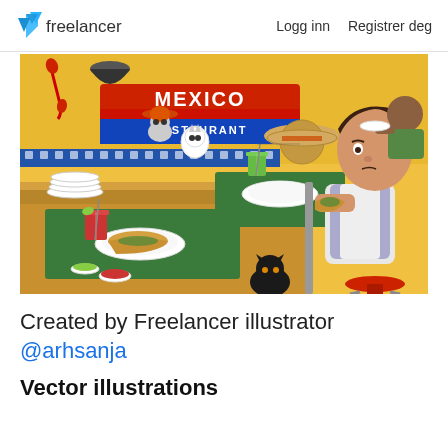freelancer | Logg inn  Registrer deg
[Figure (illustration): Colorful vector illustration of a Mexico Restaurant scene with a child sitting on a red stool at a counter, eating tacos, with food plates, drinks, a cat, and a sombrero visible. The restaurant sign reads 'MEXICO RESTAURANT' in red and blue.]
Created by Freelancer illustrator @arhsanja
Vector illustrations